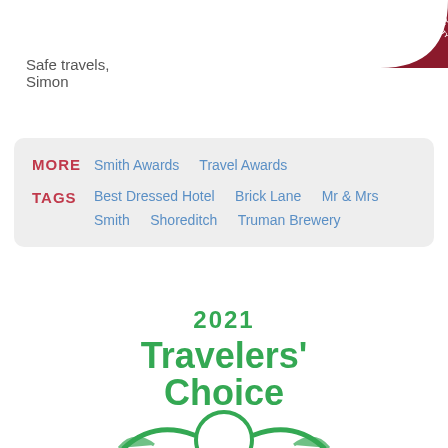[Figure (logo): Dark red circular badge in top-right corner with text 'CHECK AVAILABILITY' in white]
Safe travels,
Simon
MORE  Smith Awards  Travel Awards
TAGS  Best Dressed Hotel  Brick Lane  Mr & Mrs Smith  Shoreditch  Truman Brewery
[Figure (logo): TripAdvisor 2021 Travelers' Choice award logo in green with owl emblem]